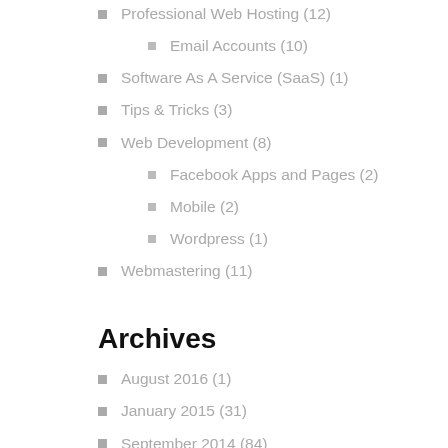Professional Web Hosting (12)
Email Accounts (10)
Software As A Service (SaaS) (1)
Tips & Tricks (3)
Web Development (8)
Facebook Apps and Pages (2)
Mobile (2)
Wordpress (1)
Webmastering (11)
Archives
August 2016 (1)
January 2015 (31)
September 2014 (84)